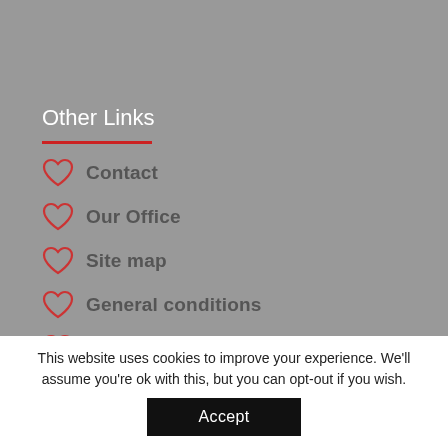Other Links
Contact
Our Office
Site map
General conditions
Legal notice
Testimonial
This website uses cookies to improve your experience. We'll assume you're ok with this, but you can opt-out if you wish.